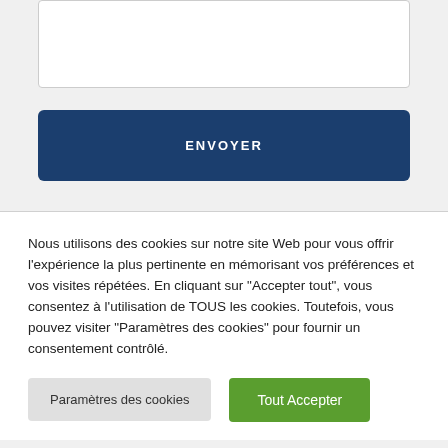[Figure (screenshot): White input text box with border]
ENVOYER
Nous utilisons des cookies sur notre site Web pour vous offrir l'expérience la plus pertinente en mémorisant vos préférences et vos visites répétées. En cliquant sur "Accepter tout", vous consentez à l'utilisation de TOUS les cookies. Toutefois, vous pouvez visiter "Paramètres des cookies" pour fournir un consentement contrôlé.
Paramètres des cookies
Tout Accepter